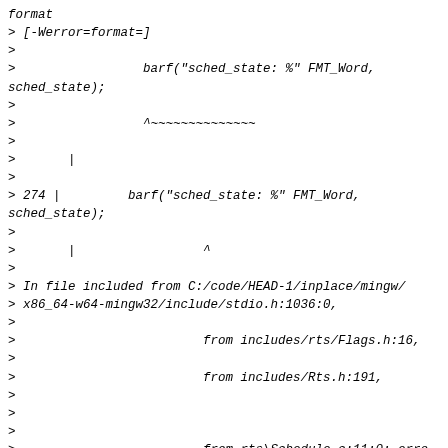format
> [-Werror=format=]
>
>                 barf("sched_state: %" FMT_Word,
sched_state);
>
>                 ^~~~~~~~~~~~~~~
>
>       |
>
> 274 |         barf("sched_state: %" FMT_Word,
sched_state);
>
>       |                 ^
>
> In file included from C:/code/HEAD-1/inplace/mingw/
> x86_64-w64-mingw32/include/stdio.h:1036:0,
>
>                         from includes/rts/Flags.h:16,
>
>                         from includes/Rts.h:191,
>
>
>
>                         from rts\Schedule.c:11:0: error:
>
> C:/code/HEAD-1/inplace/mingw/x86_64-w64-
mingw32/include/_mingw_print_pop.h:86:18:
> note: format string is defined here
>